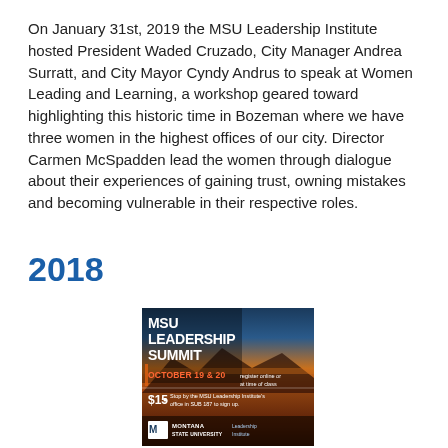On January 31st, 2019 the MSU Leadership Institute hosted President Waded Cruzado, City Manager Andrea Surratt, and City Mayor Cyndy Andrus to speak at Women Leading and Learning, a workshop geared toward highlighting this historic time in Bozeman where we have three women in the highest offices of our city. Director Carmen McSpadden lead the women through dialogue about their experiences of gaining trust, owning mistakes and becoming vulnerable in their respective roles.
2018
[Figure (other): MSU Leadership Summit promotional poster showing October 19 & 20 event, $15 registration, stop by the MSU Leadership Institute's office in SUB 187 to sign up. Montana State University Leadership Institute logo at bottom.]